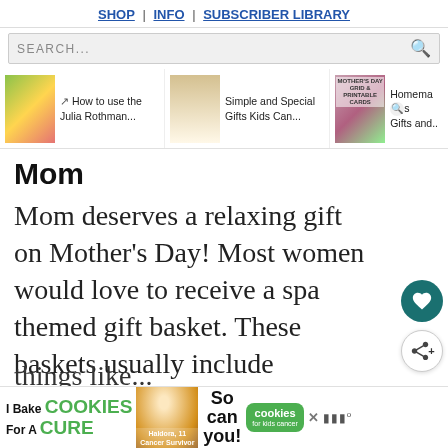SHOP | INFO | SUBSCRIBER LIBRARY
SEARCH...
[Figure (screenshot): Carousel of article thumbnails: 'How to use the Julia Rothman...', 'Simple and Special Gifts Kids Can...', 'Homemade Gifts and...']
Mom
Mom deserves a relaxing gift on Mother's Day! Most women would love to receive a spa themed gift basket. These baskets usually include
[Figure (screenshot): Advertisement banner: I Bake COOKIES For A CURE - Haldora, 11 Cancer Survivor - So can you! cookies for kids cancer]